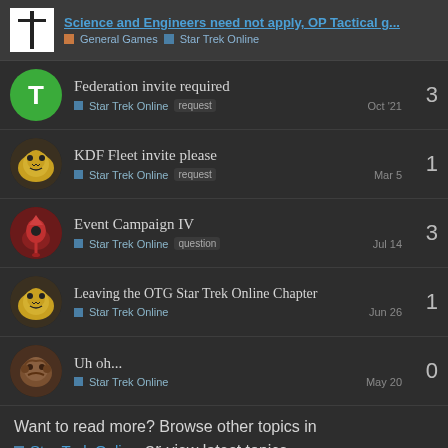Science and Engineers need not apply, OP Tactical g... | General Games | Star Trek Online
Federation invite required | Star Trek Online | request | Oct '21 | 3
KDF Fleet invite please | Star Trek Online | request | Mar 5 | 1
Event Campaign IV | Star Trek Online | question | Jul 14 | 3
Leaving the OTG Star Trek Online Chapter | Star Trek Online | Jun 26 | 1
Uh oh... | Star Trek Online | May 20 | 0
Want to read more? Browse other topics in
Star Trek Online or view latest topics.